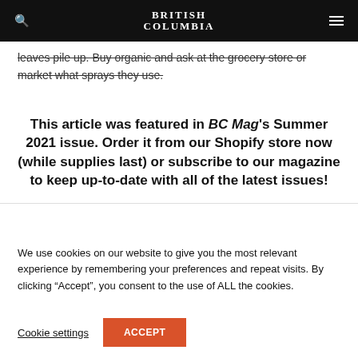British Columbia
leaves pile up. Buy organic and ask at the grocery store or market what sprays they use.
This article was featured in BC Mag's Summer 2021 issue. Order it from our Shopify store now (while supplies last) or subscribe to our magazine to keep up-to-date with all of the latest issues!
We use cookies on our website to give you the most relevant experience by remembering your preferences and repeat visits. By clicking “Accept”, you consent to the use of ALL the cookies.
Cookie settings  ACCEPT